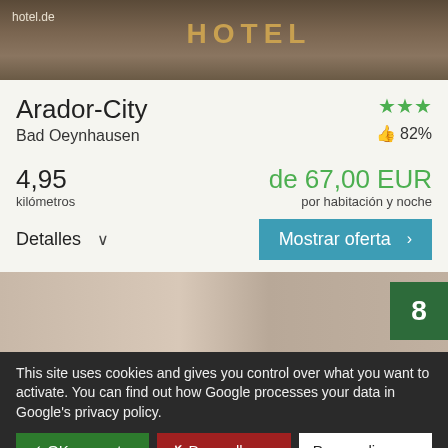[Figure (photo): Hotel exterior photo with 'hotel.de' watermark and orange HOTEL text sign]
Arador-City
Bad Oeynhausen
★★★ 👍 82%
4,95 kilómetros
de 67,00 EUR por habitación y noche
Detalles ∨
Mostrar oferta >
[Figure (photo): Hotel room interior photo with dark green badge showing number 8]
This site uses cookies and gives you control over what you want to activate. You can find out how Google processes your data in Google's privacy policy.
✓ OK, accept all
✗ Deny all cookies
Personalize
Privacy policy